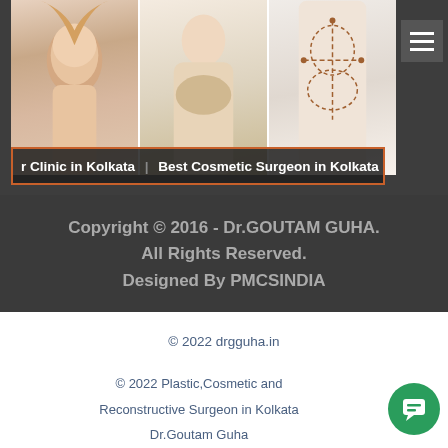[Figure (photo): Three-panel hero image showing cosmetic surgery subjects: a woman touching her face, a woman in strapless top touching her chest, and a woman in white underwear with surgical markings on abdomen]
r Clinic in Kolkata | Best Cosmetic Surgeon in Kolkata |
Copyright © 2016 - Dr.GOUTAM GUHA. All Rights Reserved. Designed By PMCSINDIA
© 2022 drgguha.in
© 2022 Plastic,Cosmetic and Reconstructive Surgeon in Kolkata Dr.Goutam Guha